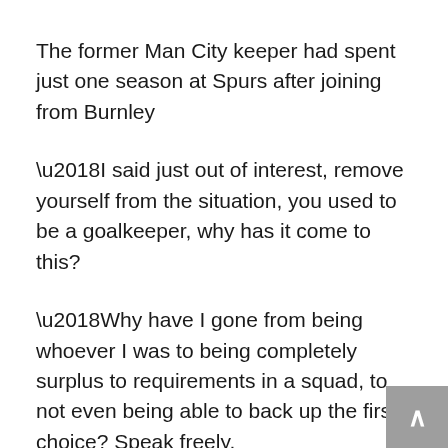The former Man City keeper had spent just one season at Spurs after joining from Burnley
‘I said just out of interest, remove yourself from the situation, you used to be a goalkeeper, why has it come to this?
‘Why have I gone from being whoever I was to being completely surplus to requirements in a squad, to not even being able to back up the first-choice? Speak freely.
‘He just went: “In my opinion, we all reach a point in our career where the body won’t allow you to play football. We’re at it now.